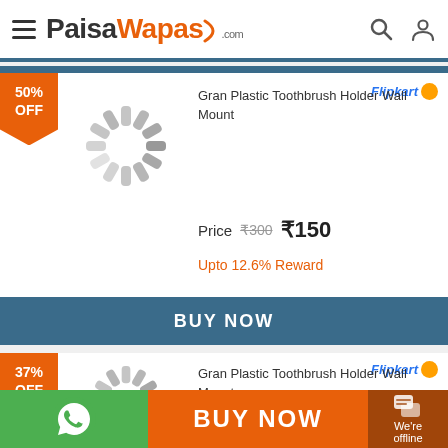PaisaWapas.com
[Figure (screenshot): Product listing page from PaisaWapas.com showing two Gran Plastic Toothbrush Holder Wall Mount items with discount badges, prices, Flipkart branding, and BUY NOW buttons]
50% OFF
Gran Plastic Toothbrush Holder Wall Mount
Price ₹300 ₹150
Upto 12.6% Reward
BUY NOW
37% OFF
Gran Plastic Toothbrush Holder Wall Mount
BUY NOW
We're offline